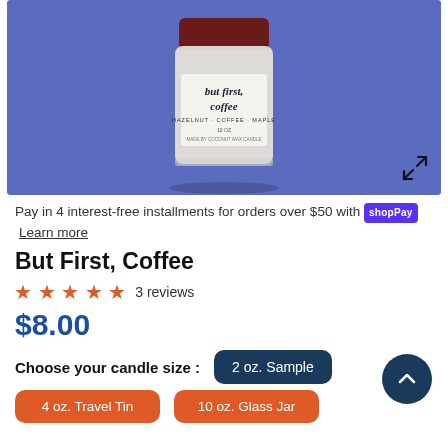[Figure (photo): Product photo of a glass jar candle labeled 'but first, coffee' with hazelnut, coffee, maple scent notes on a purple/blue background. An expand icon is shown at bottom right of the image.]
Pay in 4 interest-free installments for orders over $50 with shop Pay  Learn more
But First, Coffee
★ ★ ★ ★ ★  3 reviews
$8.00
Choose your candle size :
2 oz. Sample
4 oz. Travel Tin
10 oz. Glass Jar